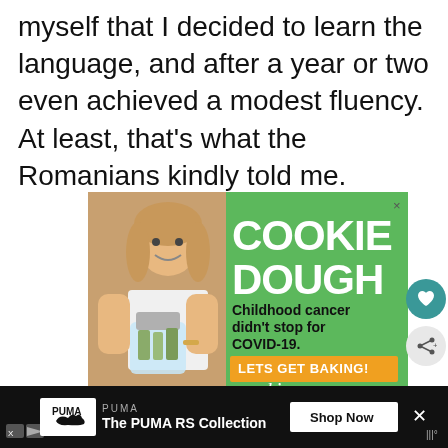myself that I decided to learn the language, and after a year or two even achieved a modest fluency. At least, that's what the Romanians kindly told me.
[Figure (infographic): Advertisement for Cookies for Kids' Cancer showing a smiling girl holding a jar of money, with green background. Text reads: COOKIE DOUGH, Childhood cancer didn't stop for COVID-19. LETS GET BAKING! cookies for kids' cancer]
[Figure (infographic): Bottom advertisement banner for PUMA RS Collection with Shop Now button on black background]